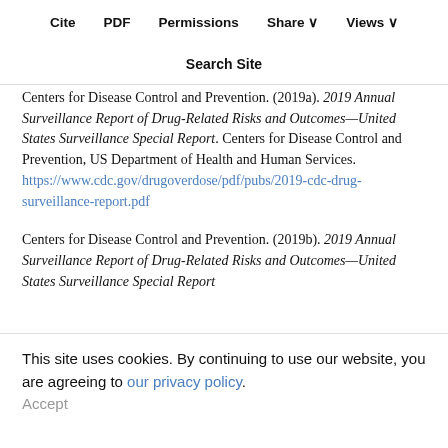Cite  PDF  Permissions  Share  Views  | Search Site
Centers for Disease Control and Prevention. (2019a). 2019 Annual Surveillance Report of Drug-Related Risks and Outcomes—United States Surveillance Special Report. Centers for Disease Control and Prevention, US Department of Health and Human Services. https://www.cdc.gov/drugoverdose/pdf/pubs/2019-cdc-drug-surveillance-report.pdf
Centers for Disease Control and Prevention. (2019b). 2019 Annual Surveillance Report of Drug-Related Risks and Outcomes—United States Surveillance Special Report. Centers for Disease Control and Prevention, US Department of Health and Human Services. https://www.cdc.gov/drugoverdose/pdf/pubs/
This site uses cookies. By continuing to use our website, you are agreeing to our privacy policy. Accept